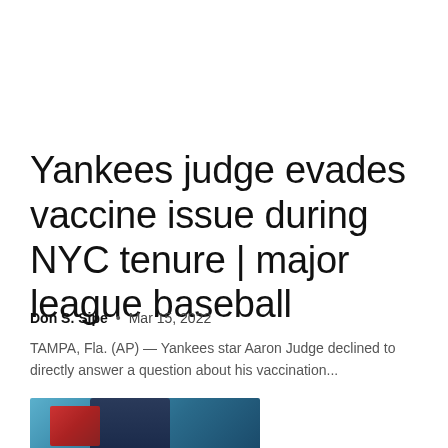Yankees judge evades vaccine issue during NYC tenure | major league baseball
Don S. Sipe  •  Mar 15, 2022
TAMPA, Fla. (AP) — Yankees star Aaron Judge declined to directly answer a question about his vaccination...
[Figure (photo): Baseball player in dark uniform with red and blue accents, partially visible at bottom of page]